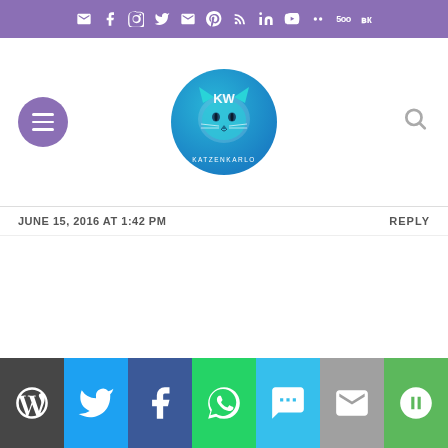Social media icon bar (mail, facebook, instagram, twitter, email, pinterest, rss, linkedin, youtube, ello, 500px, vk)
[Figure (logo): Katzenkarlo blog logo: circular blue/teal logo with cat face illustration and text KATZENKARLO]
JUNE 15, 2016 AT 1:42 PM
REPLY
Share buttons: WordPress, Twitter, Facebook, WhatsApp, SMS, Email, Copy